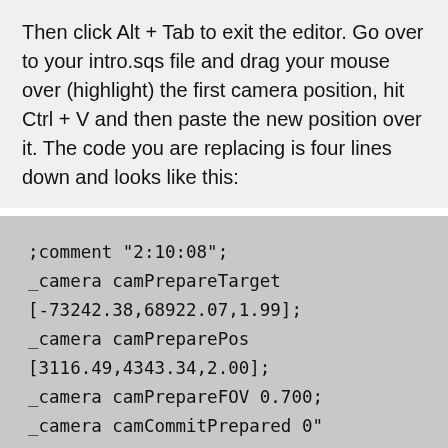Then click Alt + Tab to exit the editor. Go over to your intro.sqs file and drag your mouse over (highlight) the first camera position, hit Ctrl + V and then paste the new position over it. The code you are replacing is four lines down and looks like this:
;comment "2:10:08";
_camera camPrepareTarget
[-73242.38,68922.07,1.99];
_camera camPreparePos
[3116.49,4343.34,2.00];
_camera camPrepareFOV 0.700;
_camera camCommitPrepared 0"
Copy the numbers from the sixth line down (3116.49,4343.34,2.00) and past them into the brackets of line two, so it will now look like this: